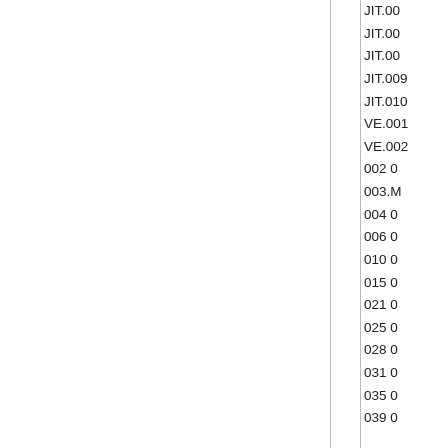| JIT.00... |
| JIT.00... |
| JIT.00... |
| JIT.00... |
| JIT.010... |
| VE.001... |
| VE.002... |
| 002 0... |
| 003.M... |
| 004 0... |
| 006 0... |
| 010 0... |
| 015 0... |
| 021 0... |
| 025 0... |
| 028 0... |
| 031 0... |
| 035 0... |
| 039 0... |